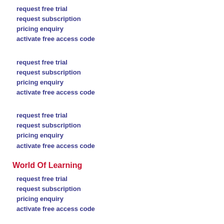request free trial
request subscription
pricing enquiry
activate free access code
request free trial
request subscription
pricing enquiry
activate free access code
request free trial
request subscription
pricing enquiry
activate free access code
World Of Learning
request free trial
request subscription
pricing enquiry
activate free access code
Europa World and/or the Regional Surveys